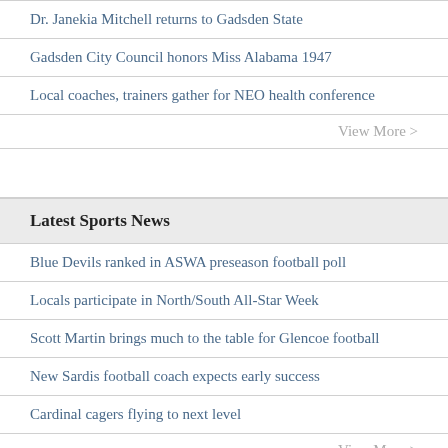Dr. Janekia Mitchell returns to Gadsden State
Gadsden City Council honors Miss Alabama 1947
Local coaches, trainers gather for NEO health conference
View More >
Latest Sports News
Blue Devils ranked in ASWA preseason football poll
Locals participate in North/South All-Star Week
Scott Martin brings much to the table for Glencoe football
New Sardis football coach expects early success
Cardinal cagers flying to next level
View More >